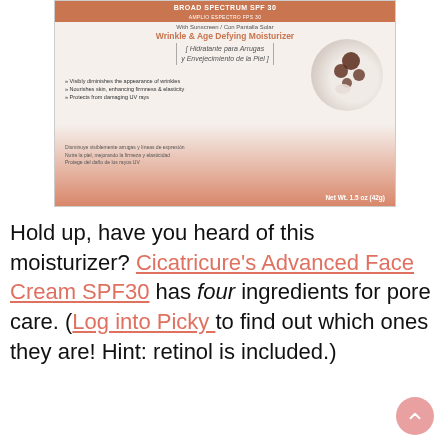[Figure (photo): Product box of Cicatricure Wrinkle & Age Defying Moisturizer with Broad Spectrum SPF 30, showing bilingual English/Spanish text and a circular image of moisturizer with dark beads. Net Wt. 1.5 oz (42g).]
Hold up, have you heard of this moisturizer? Cicatricure's Advanced Face Cream SPF30 has four ingredients for pore care. (Log into Picky to find out which ones they are! Hint: retinol is included.)